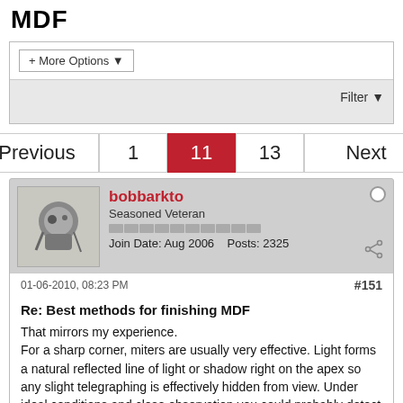MDF
+ More Options ▾
Filter ▾
Previous  1  11  13  Next
bobbarkto
Seasoned Veteran
Join Date: Aug 2006  Posts: 2325
01-06-2010, 08:23 PM  #151
Re: Best methods for finishing MDF
That mirrors my experience.
For a sharp corner, miters are usually very effective. Light forms a natural reflected line of light or shadow right on the apex so any slight telegraphing is effectively hidden from view. Under ideal conditions and close observation you could probably detect the seam when it rears it's nasty little head.